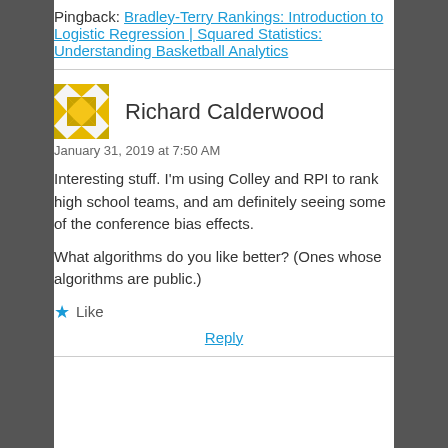Pingback: Bradley-Terry Rankings: Introduction to Logistic Regression | Squared Statistics: Understanding Basketball Analytics
Richard Calderwood
January 31, 2019 at 7:50 AM
Interesting stuff. I'm using Colley and RPI to rank high school teams, and am definitely seeing some of the conference bias effects.
What algorithms do you like better? (Ones whose algorithms are public.)
Like
Reply